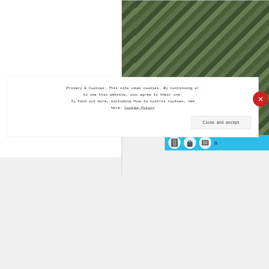[Figure (photo): Aerial or close-up photo of grass growing through grid/mesh pavers or a permeable paving surface. Green grass visible between dark grey rectangular paving sections arranged in a diagonal grid pattern.]
[Figure (screenshot): Partial website toolbar/navigation bar with cyan/blue background showing three icon buttons (a door/page icon, a bucket/container icon, and a list/menu icon) and partial text 'a' cut off at right edge.]
Privacy & Cookies: This site uses cookies. By continuing to use this website, you agree to their use. To find out more, including how to control cookies, see here: Cookie Policy
Close and accept